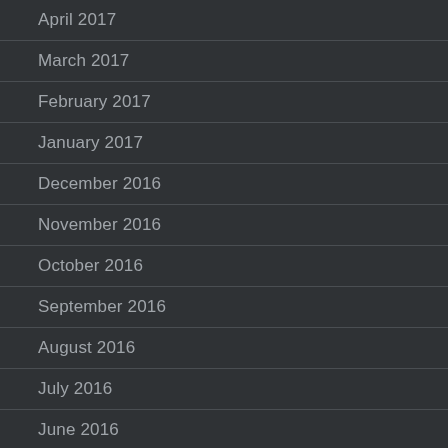April 2017
March 2017
February 2017
January 2017
December 2016
November 2016
October 2016
September 2016
August 2016
July 2016
June 2016